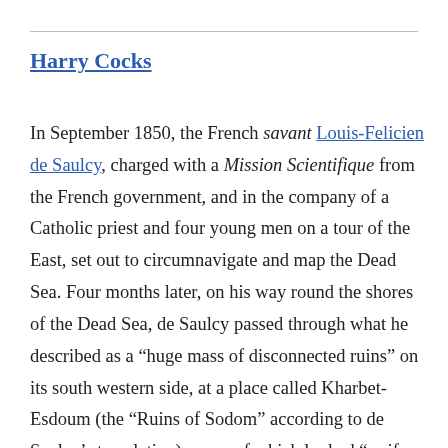Harry Cocks
In September 1850, the French savant Louis-Felicien de Saulcy, charged with a Mission Scientifique from the French government, and in the company of a Catholic priest and four young men on a tour of the East, set out to circumnavigate and map the Dead Sea. Four months later, on his way round the shores of the Dead Sea, de Saulcy passed through what he described as a “huge mass of disconnected ruins” on its south western side, at a place called Kharbet-Esdoum (the “Ruins of Sodom” according to de Saulcy’s translation), some of which looked “as if they had been burnt.” By reconciling Scriptural accounts